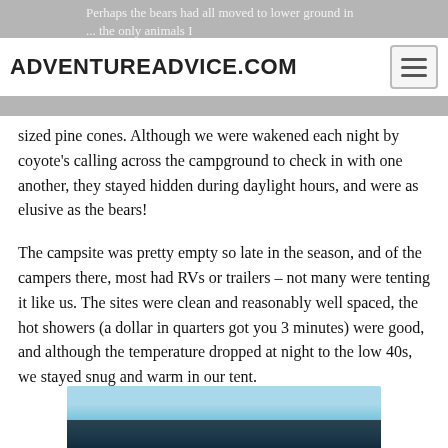ADVENTUREADVICE.COM
sized pine cones. Although we were wakened each night by coyote's calling across the campground to check in with one another, they stayed hidden during daylight hours, and were as elusive as the bears!
The campsite was pretty empty so late in the season, and of the campers there, most had RVs or trailers – not many were tenting it like us. The sites were clean and reasonably well spaced, the hot showers (a dollar in quarters got you 3 minutes) were good, and although the temperature dropped at night to the low 40s, we stayed snug and warm in our tent.
[Figure (photo): Bottom portion of a photograph showing a blue sky scene, partially visible at the bottom of the page.]